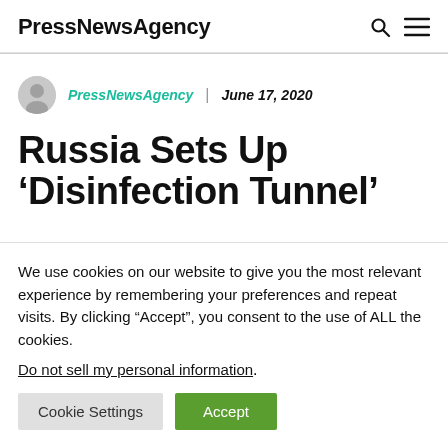PressNewsAgency
PressNewsAgency | June 17, 2020
Russia Sets Up ‘Disinfection Tunnel’
We use cookies on our website to give you the most relevant experience by remembering your preferences and repeat visits. By clicking “Accept”, you consent to the use of ALL the cookies.
Do not sell my personal information.